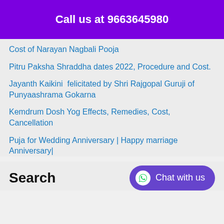Call us at 9663645980
Cost of Narayan Nagbali Pooja
Pitru Paksha Shraddha dates 2022, Procedure and Cost.
Jayanth Kaikini  felicitated by Shri Rajgopal Guruji of Punyaashrama Gokarna
Kemdrum Dosh Yog Effects, Remedies, Cost, Cancellation
Puja for Wedding Anniversary | Happy marriage Anniversary|
Search